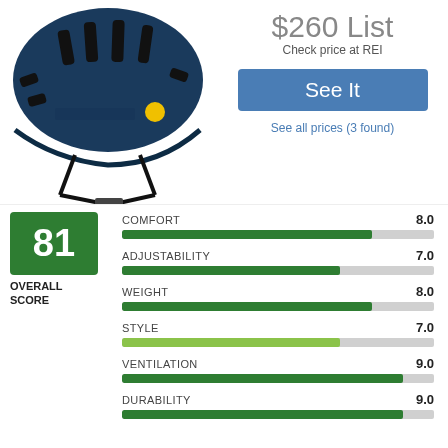[Figure (photo): Blue cycling helmet with MIPS yellow dot, black straps and buckle, photographed from the side on white background]
$260 List
Check price at REI
See It
See all prices (3 found)
[Figure (bar-chart): Overall Score 81]